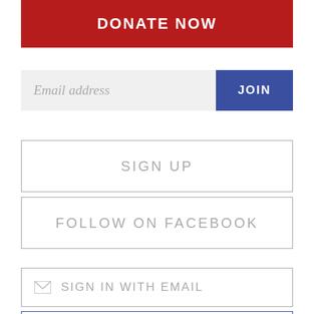DONATE NOW
Email address
JOIN
SIGN UP
FOLLOW ON FACEBOOK
SIGN IN WITH EMAIL